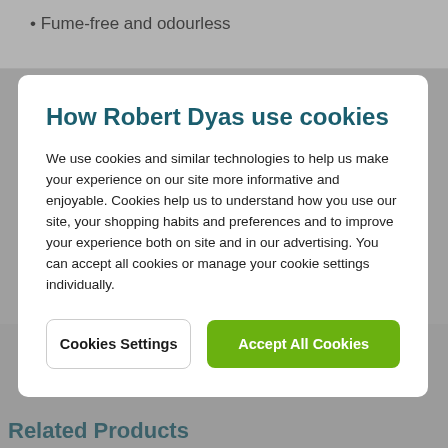Fume-free and odourless
How Robert Dyas use cookies
We use cookies and similar technologies to help us make your experience on our site more informative and enjoyable. Cookies help us to understand how you use our site, your shopping habits and preferences and to improve your experience both on site and in our advertising. You can accept all cookies or manage your cookie settings individually.
Cookies Settings
Accept All Cookies
Related Products